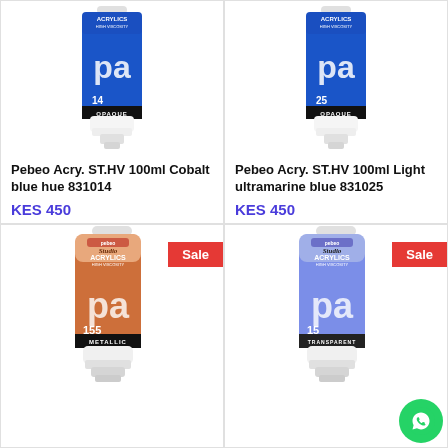[Figure (photo): Pebeo Studio Acrylics High Viscosity 100ml tube, blue, opaque, number 14, Cobalt blue hue]
Pebeo Acry. ST.HV 100ml Cobalt blue hue 831014
KES 450
Out of stock
[Figure (photo): Pebeo Studio Acrylics High Viscosity 100ml tube, blue, opaque, number 25, Light ultramarine blue]
Pebeo Acry. ST.HV 100ml Light ultramarine blue 831025
KES 450
Add to basket
[Figure (photo): Pebeo Studio Acrylics High Viscosity 100ml tube, orange/copper metallic, number 155, with Sale badge]
[Figure (photo): Pebeo Studio Acrylics High Viscosity 100ml tube, blue transparent, number 15, with Sale badge]